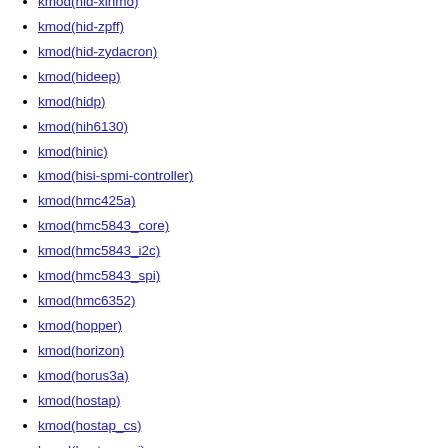kmod(hid-xinmo)
kmod(hid-zpff)
kmod(hid-zydacron)
kmod(hideep)
kmod(hidp)
kmod(hih6130)
kmod(hinic)
kmod(hisi-spmi-controller)
kmod(hmc425a)
kmod(hmc5843_core)
kmod(hmc5843_i2c)
kmod(hmc5843_spi)
kmod(hmc6352)
kmod(hopper)
kmod(horizon)
kmod(horus3a)
kmod(hostap)
kmod(hostap_cs)
kmod(hostap_pci)
kmod(hostap_plx)
kmod(hp-wmi)
kmod(hp03)
kmod(hp206c)
kmod(hp_accel)
kmod(hpfs)